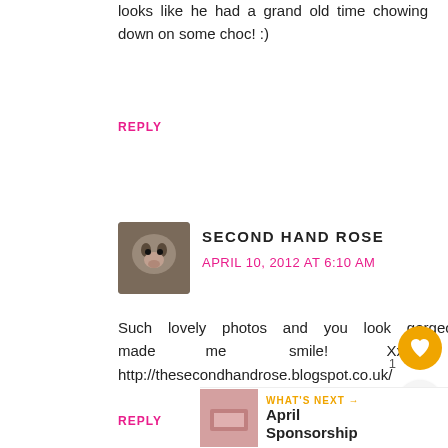looks like he had a grand old time chowing down on some choc! :)
REPLY
[Figure (photo): Small avatar photo of a cat or animal face]
SECOND HAND ROSE
APRIL 10, 2012 AT 6:10 AM
Such lovely photos and you look gorgeous in that dress! Such a cute sink bath photo, that has made me smile! Xx http://thesecondhandrose.blogspot.co.uk/
REPLY